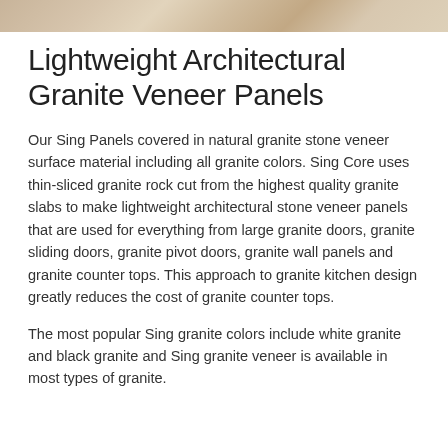[Figure (photo): Partial view of a granite surface or architectural interior, showing warm beige/tan tones — only a cropped strip visible at top of page]
Lightweight Architectural Granite Veneer Panels
Our Sing Panels covered in natural granite stone veneer surface material including all granite colors. Sing Core uses thin-sliced granite rock cut from the highest quality granite slabs to make lightweight architectural stone veneer panels that are used for everything from large granite doors, granite sliding doors, granite pivot doors, granite wall panels and granite counter tops. This approach to granite kitchen design greatly reduces the cost of granite counter tops.
The most popular Sing granite colors include white granite and black granite and Sing granite veneer is available in most types of granite.